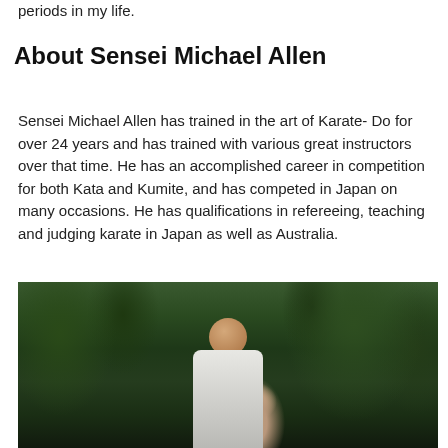periods in my life.
About Sensei Michael Allen
Sensei Michael Allen has trained in the art of Karate- Do for over 24 years and has trained with various great instructors over that time. He has an accomplished career in competition for both Kata and Kumite, and has competed in Japan on many occasions. He has qualifications in refereeing, teaching and judging karate in Japan as well as Australia.
[Figure (photo): Photograph of Sensei Michael Allen outdoors, wearing a white gi (karate uniform) with trees in the background. He appears to be a middle-aged man with short grey hair, looking downward.]